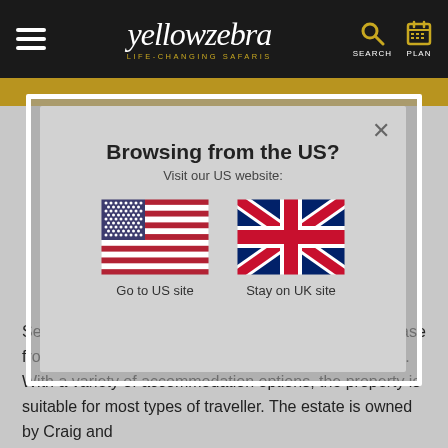yellowzebra LIFE-CHANGING SAFARIS | SEARCH | PLAN
[Figure (screenshot): Modal dialog on yellowzebra.com website asking 'Browsing from the US?' with US flag (Go to US site) and UK flag (Stay on UK site) options]
Browsing from the US?
Visit our US website:
Go to US site
Stay on UK site
Set in gorgeous gardens, Hunter’s offers a peaceful base from which to explore this stretch of the Garden Route. With a variety of accommodation options, the property is suitable for most types of traveller. The estate is owned by Craig and